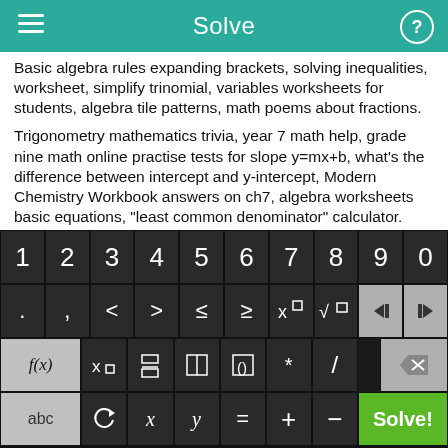Solve
Basic algebra rules expanding brackets, solving inequalities, worksheet, simplify trinomial, variables worksheets for students, algebra tile patterns, math poems about fractions.
Trigonometry mathematics trivia, year 7 math help, grade nine math online practise tests for slope y=mx+b, what's the difference between intercept and y-intercept, Modern Chemistry Workbook answers on ch7, algebra worksheets basic equations, "least common denominator" calculator.
Year 9 math problems, Dividing negative and positive numbers
[Figure (screenshot): Calculator keyboard with numeric row (1-9, 0), symbol row (., comma, <, >, ≤, ≥, x^□, √□, left arrow, right arrow), function row (f(x), x□, fraction, abs, parenthesis, *, /, delete), and bottom row (abc, undo, x, y, =, +, -, Solve! button in green)]